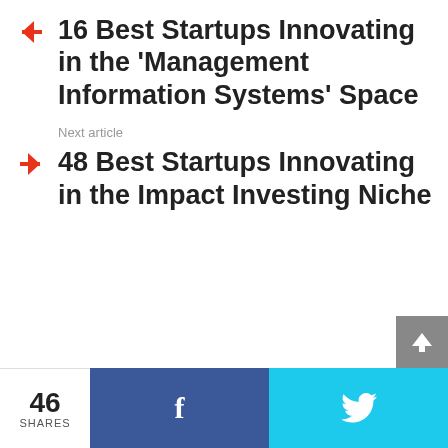16 Best Startups Innovating in the 'Management Information Systems' Space
Next article
48 Best Startups Innovating in the Impact Investing Niche
46 SHARES  f  (Twitter bird icon)